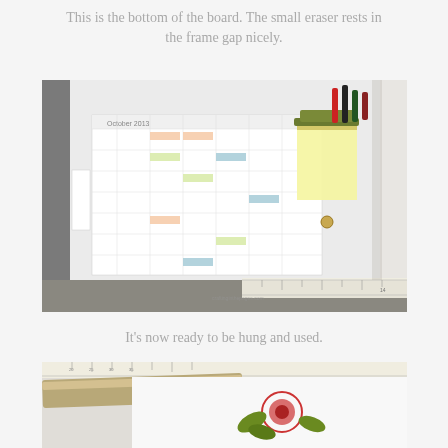This is the bottom of the board. The small eraser rests in the frame gap nicely.
[Figure (photo): Photo of the bottom of a whiteboard frame. A calendar/planner sheet is attached to the whiteboard. Sticky notes, binder clips, and colored markers are clipped to the right side. A ruler is visible at the bottom right. A watermark reads craftinginthepages.com.]
It’s now ready to be hung and used.
[Figure (photo): Photo showing the top portion of the framed whiteboard with a floral rose and leaf design printed on white paper inside the frame. A ruler is visible at the top edge.]